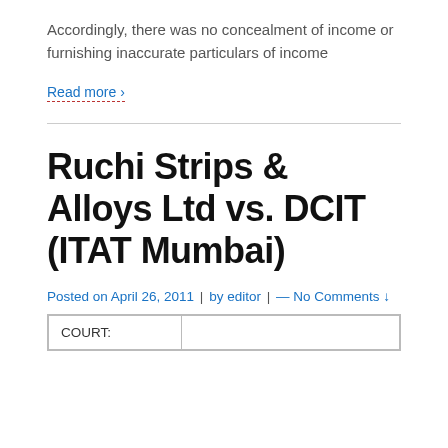Accordingly, there was no concealment of income or furnishing inaccurate particulars of income
Read more ›
Ruchi Strips & Alloys Ltd vs. DCIT (ITAT Mumbai)
Posted on April 26, 2011 | by editor | — No Comments ↓
| COURT: |  |
| --- | --- |